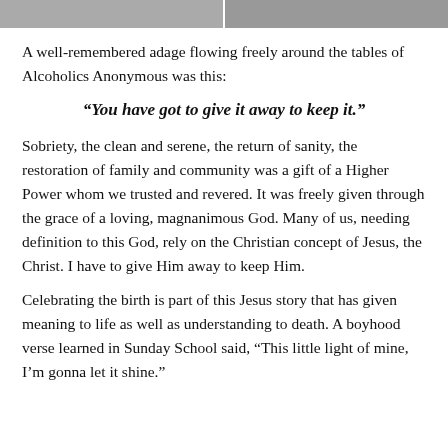[Figure (photo): Partial photo strip at top of page showing two people, split by a white divider]
A well-remembered adage flowing freely around the tables of Alcoholics Anonymous was this:
“You have got to give it away to keep it.”
Sobriety, the clean and serene, the return of sanity, the restoration of family and community was a gift of a Higher Power whom we trusted and revered. It was freely given through the grace of a loving, magnanimous God. Many of us, needing definition to this God, rely on the Christian concept of Jesus, the Christ. I have to give Him away to keep Him.
Celebrating the birth is part of this Jesus story that has given meaning to life as well as understanding to death. A boyhood verse learned in Sunday School said, “This little light of mine, I’m gonna let it shine.”